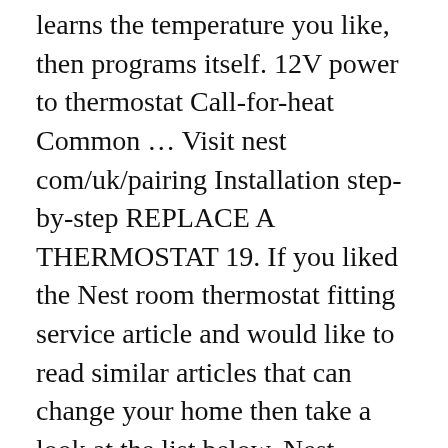learns the temperature you like, then programs itself. 12V power to thermostat Call-for-heat Common ... Visit nest com/uk/pairing Installation step-by-step REPLACE A THERMOSTAT 19. If you liked the Nest room thermostat fitting service article and would like to read similar articles that can change your home then take a look at the list below. Nest thermostat installation cost The Nest thermostat E , powered by Google, costs around £190 . As mentioned in the introduction to this page, the Nest thermostatic based on a 3-bedroom house should save you about £334 per year/annum if used correctly. If your buying the Nest room thermostat on its own, then you will not be able to control each room